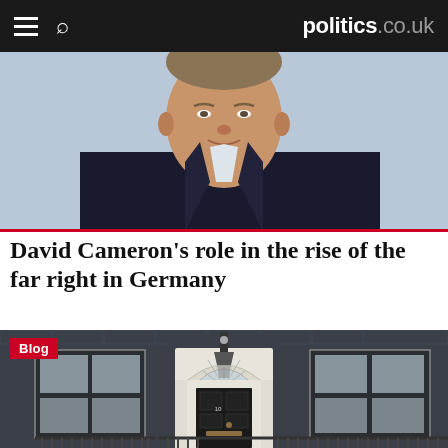politics.co.uk
[Figure (photo): Close-up photo of David Cameron in a dark suit with a red tie, looking slightly to the side, light blue background.]
David Cameron’s role in the rise of the far right in Germany
[Figure (photo): Photo of 10 Downing Street exterior showing the iconic black door with white classical portico, dark brick facade, and 'Blog' label badge in the top-left corner.]